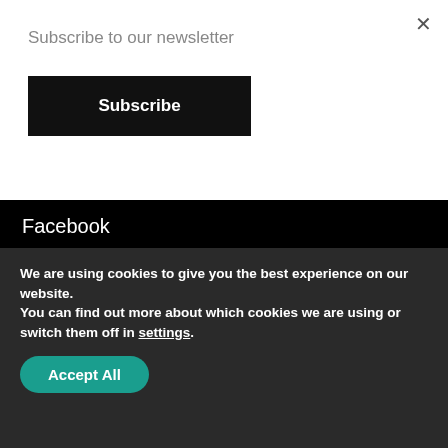Subscribe to our newsletter
×
Subscribe
Facebook
Twitter
Youtube
[Figure (other): Payment method icons: white card, Mastercard (red/yellow), Maestro (blue/red), white card]
We are using cookies to give you the best experience on our website.
You can find out more about which cookies we are using or switch them off in settings.
Accept All